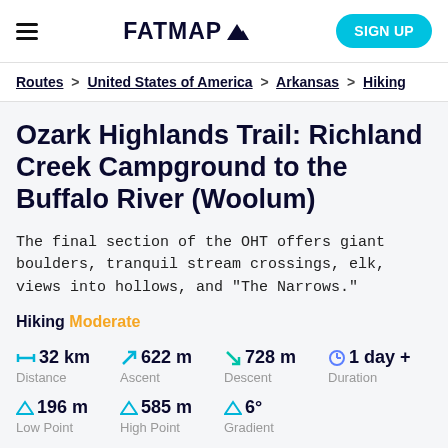FATMAP (logo) | SIGN UP
Routes > United States of America > Arkansas > Hiking
Ozark Highlands Trail: Richland Creek Campground to the Buffalo River (Woolum)
The final section of the OHT offers giant boulders, tranquil stream crossings, elk, views into hollows, and "The Narrows."
Hiking Moderate
32 km Distance | 622 m Ascent | 728 m Descent | 1 day + Duration
196 m Low Point | 585 m High Point | 6° Gradient